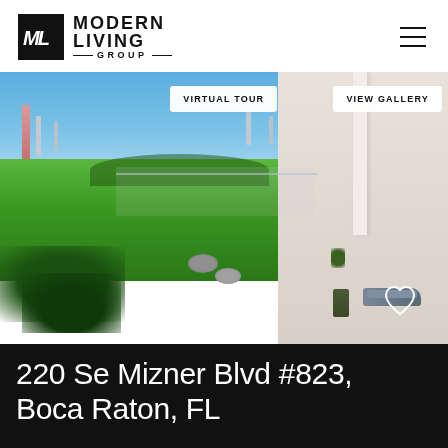[Figure (logo): Modern Living Group logo with ML monogram in black box]
[Figure (photo): Aerial view of luxury condo balcony overlooking golf course and city skyline in Boca Raton, FL, with VIRTUAL TOUR and VIEW GALLERY buttons]
220 Se Mizner Blvd #823, Boca Raton, FL